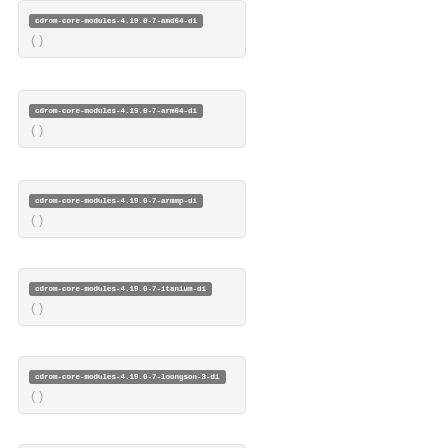cdrom-core-modules-4.19.0-7-amd64-di ( )
cdrom-core-modules-4.19.0-7-arm64-di ( )
cdrom-core-modules-4.19.0-7-armmp-di ( )
cdrom-core-modules-4.19.0-7-itanium-di ( )
cdrom-core-modules-4.19.0-7-loongson-3-di ( )
cdrom-core-modules-4.19.0-7-m68k-di ( )